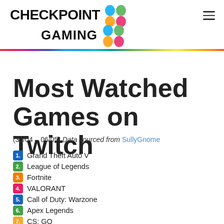CHECKPOINT GAMING
Most Watched Games on Twitch
(30/04 – 06/05) Data sourced from SullyGnome
1. Grand Theft Auto V
2. League of Legends
3. Fortnite
4. VALORANT
5. Call of Duty: Warzone
6. Apex Legends
7. CS: GO
8. Minecraft